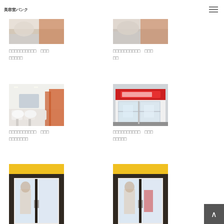美容室バンク
[Figure (photo): Salon interior with orange accents, top portion visible]
□□□□□□□□□□　□□□
□□□□□
[Figure (photo): Salon or shop exterior with orange and white colors, top portion visible]
□□□□□□□□□□　□□□
□□
[Figure (photo): Bright salon interior with white chairs and orange cabinets]
□□□□□□□□□□　□□□
□□□□□□□
[Figure (photo): Red and white storefront with Japanese signage]
□□□□□□□□□□　□□□
□□□□□
[Figure (photo): Shop front with yellow banner and dark frame doors, partially visible]
[Figure (photo): Shop front with yellow banner and dark frame doors, partially visible]